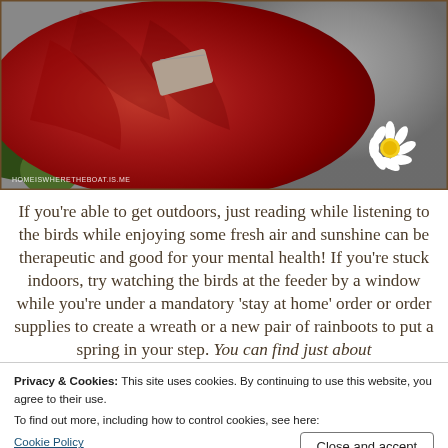[Figure (photo): Close-up photo of a red fabric hat on a grey surface with a white daisy flower visible in the lower right, green foliage peeking in, and a watermark reading 'HOMEISWHERETHEBOAT.IS.ME']
If you're able to get outdoors, just reading while listening to the birds while enjoying some fresh air and sunshine can be therapeutic and good for your mental health! If you're stuck indoors, try watching the birds at the feeder by a window while you're under a mandatory 'stay at home' order or order supplies to create a wreath or a new pair of rainboots to put a spring in your step. You can find just about
Privacy & Cookies: This site uses cookies. By continuing to use this website, you agree to their use.
To find out more, including how to control cookies, see here:
Cookie Policy
[Figure (photo): Bottom partial photo showing red fabric, similar to the top image]